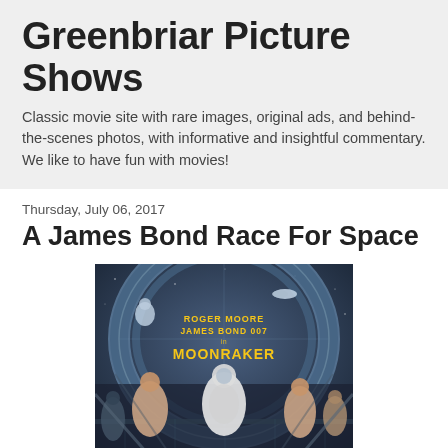Greenbriar Picture Shows
Classic movie site with rare images, original ads, and behind-the-scenes photos, with informative and insightful commentary. We like to have fun with movies!
Thursday, July 06, 2017
A James Bond Race For Space
[Figure (photo): Moonraker James Bond 007 movie poster featuring Roger Moore in a space suit surrounded by characters, with a large circular space station structure in the background]